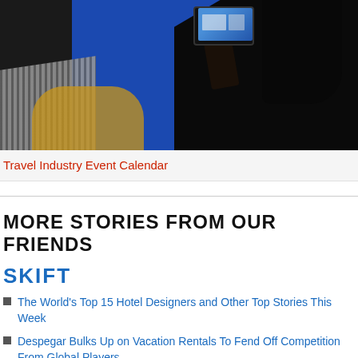[Figure (photo): A person photographing a conference panel on stage using a smartphone, with a blue backdrop and yellow chair visible in the background.]
Travel Industry Event Calendar
MORE STORIES FROM OUR FRIENDS
SKIFT
The World's Top 15 Hotel Designers and Other Top Stories This Week
Despegar Bulks Up on Vacation Rentals To Fend Off Competition From Global Players